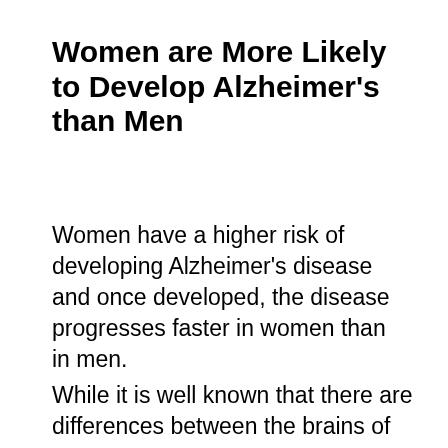Women are More Likely to Develop Alzheimer's than Men
Women have a higher risk of developing Alzheimer's disease and once developed, the disease progresses faster in women than in men.
While it is well known that there are differences between the brains of